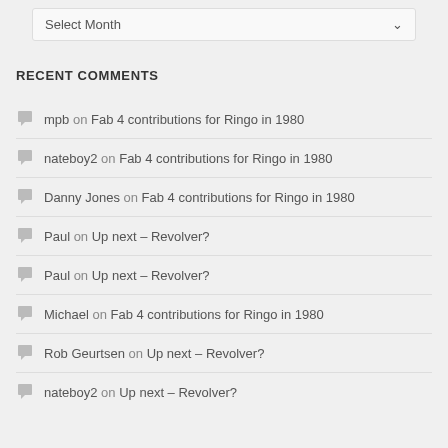Select Month
RECENT COMMENTS
mpb on Fab 4 contributions for Ringo in 1980
nateboy2 on Fab 4 contributions for Ringo in 1980
Danny Jones on Fab 4 contributions for Ringo in 1980
Paul on Up next – Revolver?
Paul on Up next – Revolver?
Michael on Fab 4 contributions for Ringo in 1980
Rob Geurtsen on Up next – Revolver?
nateboy2 on Up next – Revolver?